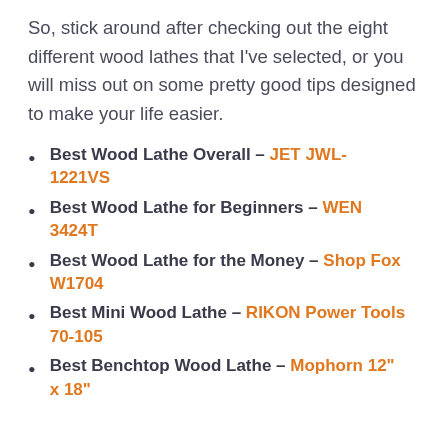So, stick around after checking out the eight different wood lathes that I've selected, or you will miss out on some pretty good tips designed to make your life easier.
Best Wood Lathe Overall – JET JWL-1221VS
Best Wood Lathe for Beginners – WEN 3424T
Best Wood Lathe for the Money – Shop Fox W1704
Best Mini Wood Lathe – RIKON Power Tools 70-105
Best Benchtop Wood Lathe – Mophorn 12" x 18"